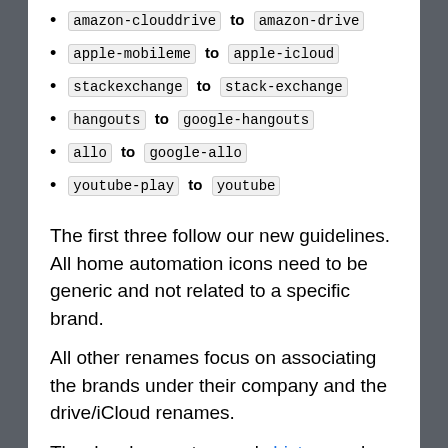amazon-clouddrive to amazon-drive
apple-mobileme to apple-icloud
stackexchange to stack-exchange
hangouts to google-hangouts
allo to google-allo
youtube-play to youtube
The first three follow our new guidelines. All home automation icons need to be generic and not related to a specific brand.
All other renames focus on associating the brands under their company and the drive/iCloud renames.
The development server's history makes